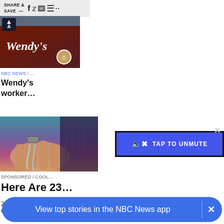SHARE & SAVE —
[Figure (screenshot): Wendy's restaurant sign with NBC peacock logo in corner]
NBC NEWS / …
Wendy's worker…
[Figure (photo): Close-up of hands with water flowing, gadget on finger]
SPONSORED / COOL…
Here Are 23…
23 N… Gadg…
[Figure (screenshot): TAP TO UNMUTE video overlay button on dark background]
View top stories in the NBC News app